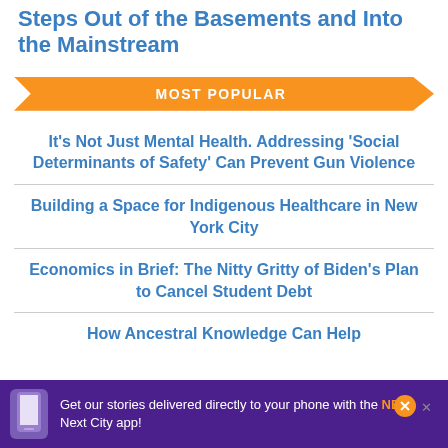Steps Out of the Basements and Into the Mainstream
MOST POPULAR
It's Not Just Mental Health. Addressing 'Social Determinants of Safety' Can Prevent Gun Violence
Building a Space for Indigenous Healthcare in New York City
Economics in Brief: The Nitty Gritty of Biden's Plan to Cancel Student Debt
How Ancestral Knowledge Can Help
[Figure (screenshot): Advertisement banner: 'Get our stories delivered directly to your phone with the NEW Next City app!' with purple background and phone graphic]